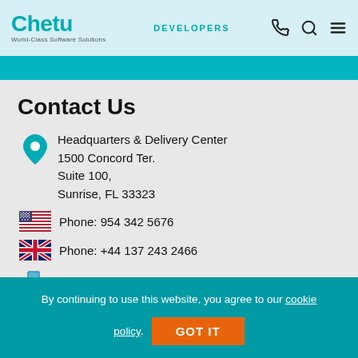Chetu - World-Class Software Solutions | DEVELOPERS
Contact Us
Headquarters & Delivery Center
1500 Concord Ter.
Suite 100,
Sunrise, FL 33323
Phone: 954 342 5676
Phone: +44 137 243 2466
Fax: (305) 832 5987
By continuing to use this website, you agree to our cookie policy. GOT IT